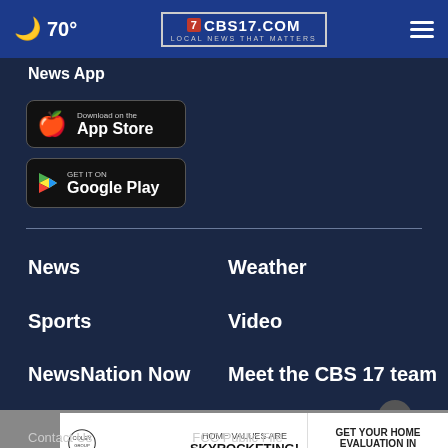🌙 70° | CBS17.COM LOCAL NEWS THAT MATTERS
News App
[Figure (screenshot): Download on the App Store button]
[Figure (screenshot): Get it on Google Play button]
News
Weather
Sports
Video
NewsNation Now
Meet the CBS 17 team
[Figure (infographic): Advertisement: Coley Group - Home Values Are Skyrocketing! Get Your Home Evaluation in 35 Seconds]
Contact Us | FCC Public File